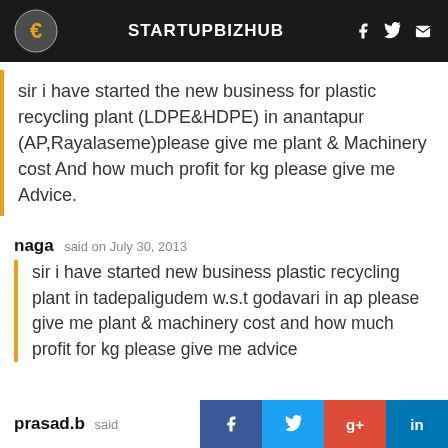STARTUPBIZHUB
sir i have started the new business for plastic recycling plant (LDPE&HDPE) in anantapur (AP,Rayalaseme)please give me plant & Machinery cost And how much profit for kg please give me Advice.
naga said on July 30, 2013
sir i have started new business plastic recycling plant in tadepaligudem w.s.t godavari in ap please give me plant & machinery cost and how much profit for kg please give me advice
prasad.b said